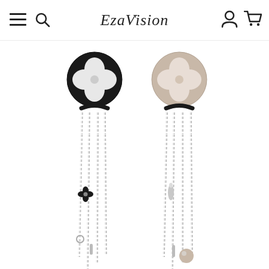EzaVision
[Figure (photo): Product photo of two dangling chain earrings with black and silver flower motif stud tops, multiple hanging chain strands with small charm pendants including a four-petal flower and teardrop shapes, displayed side by side on a white background.]